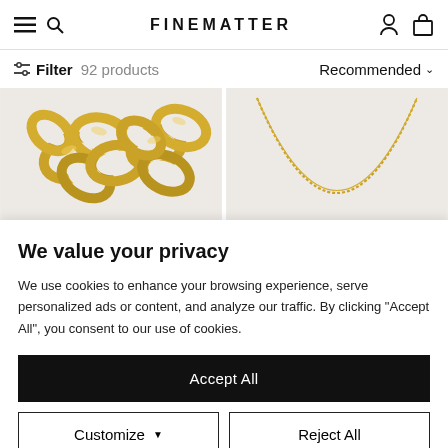FINEMATTER
Filter 92 products  Recommended
[Figure (photo): Two close-up photos of gold chain jewelry and a delicate gold necklace on light grey backgrounds]
We value your privacy
We use cookies to enhance your browsing experience, serve personalized ads or content, and analyze our traffic. By clicking "Accept All", you consent to our use of cookies.
Accept All
Customize  Reject All